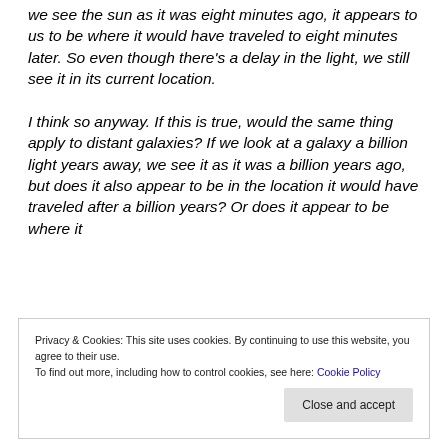we see the sun as it was eight minutes ago, it appears to us to be where it would have traveled to eight minutes later. So even though there's a delay in the light, we still see it in its current location.
I think so anyway. If this is true, would the same thing apply to distant galaxies? If we look at a galaxy a billion light years away, we see it as it was a billion years ago, but does it also appear to be in the location it would have traveled after a billion years? Or does it appear to be where it
Privacy & Cookies: This site uses cookies. By continuing to use this website, you agree to their use.
To find out more, including how to control cookies, see here: Cookie Policy
Close and accept